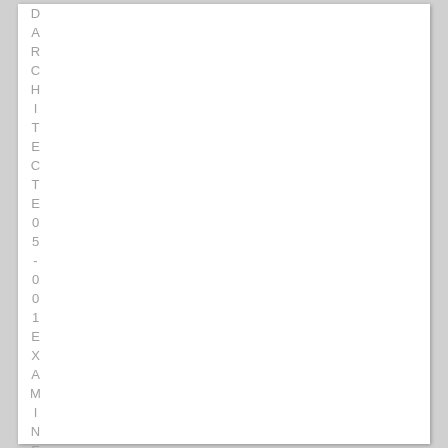DARCHITECTE05-001EXAMINE05-001T